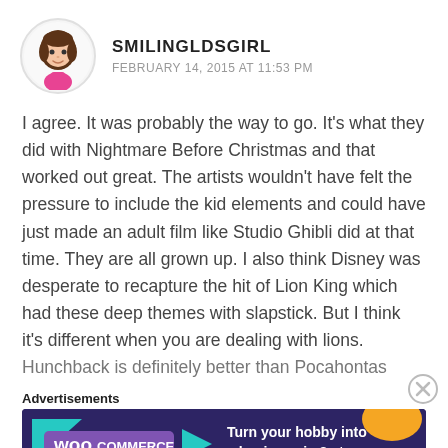[Figure (illustration): Cartoon avatar of a girl with brown hair wearing a pink top, circular avatar image]
SMILINGLDSGIRL
FEBRUARY 14, 2015 AT 11:53 PM
I agree. It was probably the way to go. It's what they did with Nightmare Before Christmas and that worked out great. The artists wouldn't have felt the pressure to include the kid elements and could have just made an adult film like Studio Ghibli did at that time. They are all grown up. I also think Disney was desperate to recapture the hit of Lion King which had these deep themes with slapstick. But I think it's different when you are dealing with lions.
Hunchback is definitely better than Pocahontas
Advertisements
[Figure (screenshot): WooCommerce advertisement banner: dark purple/navy background with colorful geometric shapes, WooCommerce logo on left, text 'Turn your hobby into a business in 8 steps']